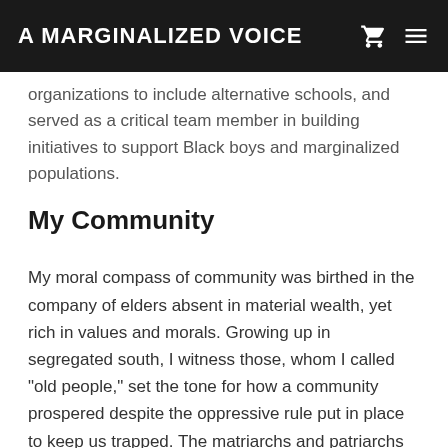A MARGINALIZED VOICE
organizations to include alternative schools, and served as a critical team member in building initiatives to support Black boys and marginalized populations.
My Community
My moral compass of community was birthed in the company of elders absent in material wealth, yet rich in values and morals. Growing up in segregated south, I witness those, whom I called "old people," set the tone for how a community prospered despite the oppressive rule put in place to keep us trapped. The matriarchs and patriarchs of my youth were flawed but fearless in how they cared for each other.  They provided a community